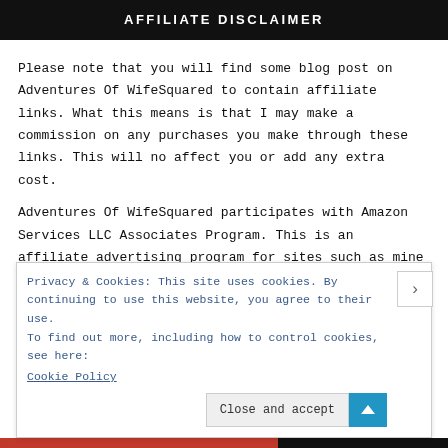AFFILIATE DISCLAIMER
Please note that you will find some blog post on Adventures Of WifeSquared to contain affiliate links. What this means is that I may make a commission on any purchases you make through these links. This will no affect you or add any extra cost.
Adventures Of WifeSquared participates with Amazon Services LLC Associates Program. This is an affiliate advertising program for sites such as mine to earn
Privacy & Cookies: This site uses cookies. By continuing to use this website, you agree to their use.
To find out more, including how to control cookies, see here:
Cookie Policy
Close and accept